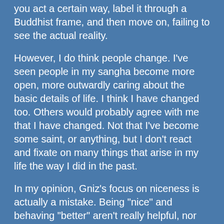you act a certain way, label it through a Buddhist frame, and then move on, failing to see the actual reality.
However, I do think people change. I've seen people in my sangha become more open, more outwardly caring about the basic details of life. I think I have changed too. Others would probably agree with me that I have changed. Not that I've become some saint, or anything, but I don't react and fixate on many things that arise in my life the way I did in the past.
In my opinion, Gniz's focus on niceness is actually a mistake. Being "nice" and behaving "better" aren't really helpful, nor are they really the drive of Buddhist practice. Take the paramitas, for example.
We Zen types tend to focus on the following six, but there are others, depending upon the school of Buddhism.
1. Dāna paramita: generosity
2. Śīla paramita: virtue, morality, discipline